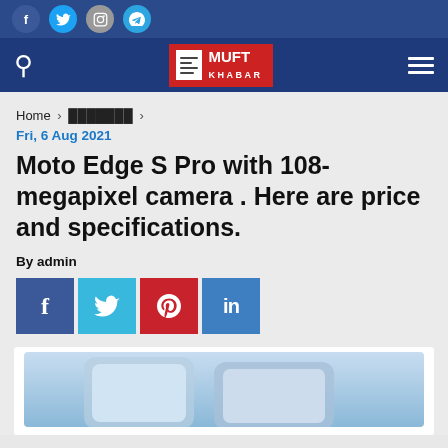Social icons: Facebook, Twitter, Instagram, Telegram
Muft Khabar - navigation bar with search and hamburger menu
Home > ▓▓▓▓▓▓▓ >
Fri, 6 Aug 2021
Moto Edge S Pro with 108-megapixel camera . Here are price and specifications.
By admin
[Figure (infographic): Social share buttons: Facebook (blue), Twitter (light blue), Pinterest (red), LinkedIn (blue)]
[Figure (photo): Moto Edge S Pro smartphone product photo showing two phones]